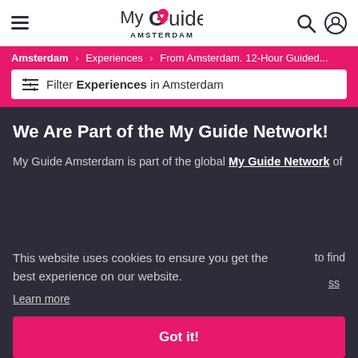My Guide Amsterdam
Amsterdam > Experiences > From Amsterdam. 12-Hour Guided...
Filter Experiences in Amsterdam
We Are Part of the My Guide Network!
My Guide Amsterdam is part of the global My Guide Network of
This website uses cookies to ensure you get the best experience on our website.
Learn more
to find
ss
Got it!